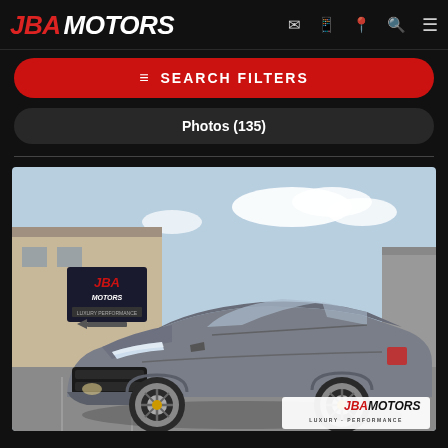JBA MOTORS
SEARCH FILTERS
Photos (135)
[Figure (photo): Photograph of a gray Porsche Cayenne Coupe SUV parked in front of JBA Motors dealership building. The car faces slightly left, showcasing its front fascia and driver side. A JBA Motors banner sign is visible in the background on the building. Watermark logo 'JBA MOTORS LUXURY PERFORMANCE' is overlaid at bottom right of the image.]